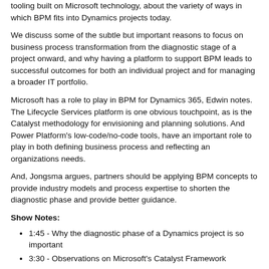tooling built on Microsoft technology, about the variety of ways in which BPM fits into Dynamics projects today.
We discuss some of the subtle but important reasons to focus on business process transformation from the diagnostic stage of a project onward, and why having a platform to support BPM leads to successful outcomes for both an individual project and for managing a broader IT portfolio.
Microsoft has a role to play in BPM for Dynamics 365, Edwin notes. The Lifecycle Services platform is one obvious touchpoint, as is the Catalyst methodology for envisioning and planning solutions. And Power Platform's low-code/no-code tools, have an important role to play in both defining business process and reflecting an organizations needs.
And, Jongsma argues, partners should be applying BPM concepts to provide industry models and process expertise to shorten the diagnostic phase and provide better guidance.
Show Notes:
1:45 - Why the diagnostic phase of a Dynamics project is so important
3:30 - Observations on Microsoft's Catalyst Framework
5:30 - Why customers should define a clear roadmap to their 'to-be' state on D365 F&O
8:00 -
10:45 - How to avoid the risks of typical ERP projects by connecting people and technology